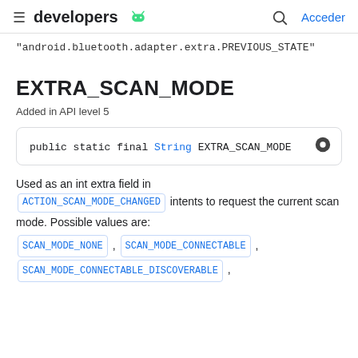developers [android logo] | [search] Acceder
"android.bluetooth.adapter.extra.PREVIOUS_STATE"
EXTRA_SCAN_MODE
Added in API level 5
public static final String EXTRA_SCAN_MODE
Used as an int extra field in ACTION_SCAN_MODE_CHANGED intents to request the current scan mode. Possible values are: SCAN_MODE_NONE , SCAN_MODE_CONNECTABLE , SCAN_MODE_CONNECTABLE_DISCOVERABLE ,